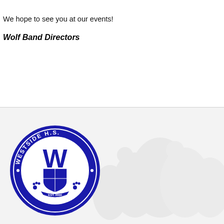We hope to see you at our events!
Wolf Band Directors
[Figure (logo): Westside H.S. circular school logo with large blue W, shield crest with EST. 2000, paw prints, and decorative elements, on a blue background with white text around the border reading WESTSIDE H.S.]